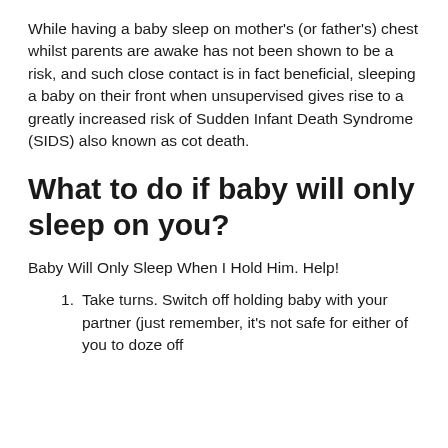While having a baby sleep on mother's (or father's) chest whilst parents are awake has not been shown to be a risk, and such close contact is in fact beneficial, sleeping a baby on their front when unsupervised gives rise to a greatly increased risk of Sudden Infant Death Syndrome (SIDS) also known as cot death.
What to do if baby will only sleep on you?
Baby Will Only Sleep When I Hold Him. Help!
Take turns. Switch off holding baby with your partner (just remember, it's not safe for either of you to doze off